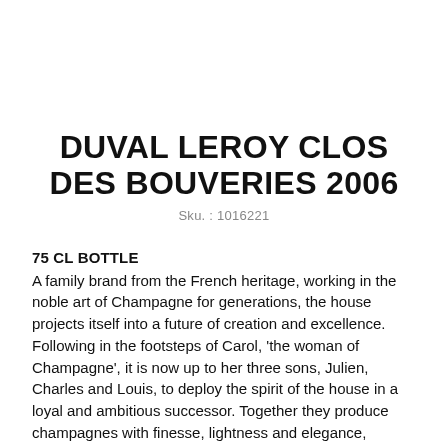DUVAL LEROY CLOS DES BOUVERIES 2006
Sku. : 1016221
75 CL BOTTLE
A family brand from the French heritage, working in the noble art of Champagne for generations, the house projects itself into a future of creation and excellence. Following in the footsteps of Carol, 'the woman of Champagne', it is now up to her three sons, Julien, Charles and Louis, to deploy the spirit of the house in a loyal and ambitious successor. Together they produce champagnes with finesse, lightness and elegance, champagnes that speak directly to the heart of the public and professionals. Champagnes that respect the terroir and magnify it. Champagnes that honor the French creative tradition, while engaging in a dialogue with the future with these passionate new actors of gastronomy. Sustainable viticulture. The vineyard is in